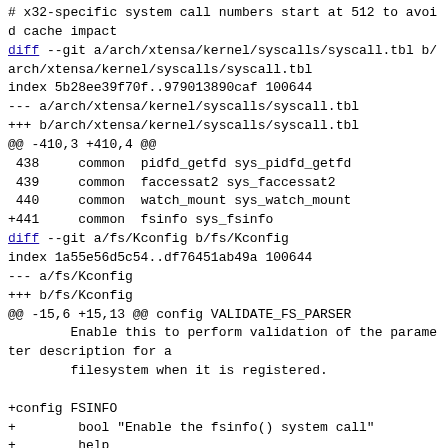# x32-specific system call numbers start at 512 to avoid cache impact
diff --git a/arch/xtensa/kernel/syscalls/syscall.tbl b/arch/xtensa/kernel/syscalls/syscall.tbl
index 5b28ee39f70f..979013890caf 100644
--- a/arch/xtensa/kernel/syscalls/syscall.tbl
+++ b/arch/xtensa/kernel/syscalls/syscall.tbl
@@ -410,3 +410,4 @@
 438    common  pidfd_getfd sys_pidfd_getfd
 439    common  faccessat2 sys_faccessat2
 440    common  watch_mount sys_watch_mount
+441    common  fsinfo sys_fsinfo
diff --git a/fs/Kconfig b/fs/Kconfig
index 1a55e56d5c54..df76451ab49a 100644
--- a/fs/Kconfig
+++ b/fs/Kconfig
@@ -15,6 +15,13 @@ config VALIDATE_FS_PARSER
        Enable this to perform validation of the parameter description for a
        filesystem when it is registered.

+config FSINFO
+       bool "Enable the fsinfo() system call"
+       help
+         Enable the file system information querying system call to allow